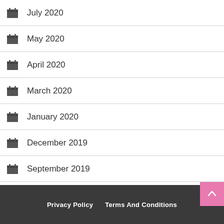July 2020
May 2020
April 2020
March 2020
January 2020
December 2019
September 2019
April 2019
March 2017
December 2015
January 2013
Privacy Policy   Terms And Conditions